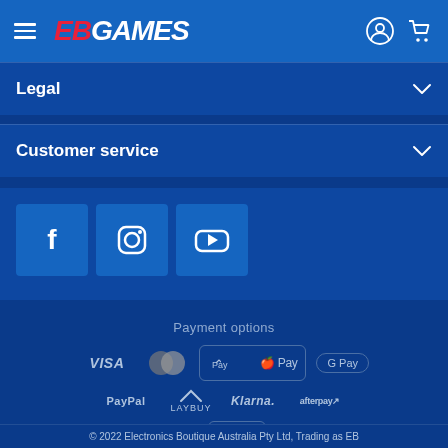[Figure (logo): EB Games logo with hamburger menu, user icon, and cart icon in blue navigation bar]
Legal
Customer service
[Figure (infographic): Social media icons: Facebook, Instagram, YouTube]
Payment options
[Figure (infographic): Payment option logos: VISA, Mastercard, Apple Pay, G Pay, PayPal, Laybuy, Klarna, Afterpay, Zip, Gift Voucher]
© 2022 Electronics Boutique Australia Pty Ltd, Trading as EB